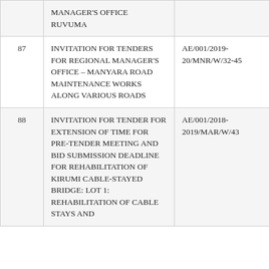|  |  |  |
| --- | --- | --- |
|  | MANAGER'S OFFICE RUVUMA |  |
| 87 | INVITATION FOR TENDERS FOR REGIONAL MANAGER'S OFFICE – MANYARA ROAD MAINTENANCE WORKS ALONG VARIOUS ROADS | AE/001/2019-20/MNR/W/32-45 |
| 88 | INVITATION FOR TENDER FOR EXTENSION OF TIME FOR PRE-TENDER MEETING AND BID SUBMISSION DEADLINE FOR REHABILITATION OF KIRUMI CABLE-STAYED BRIDGE: LOT 1: REHABILITATION OF CABLE STAYS AND… | AE/001/2018-2019/MAR/W/43 |